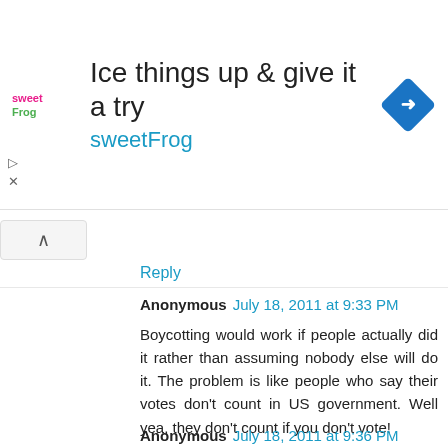[Figure (screenshot): Advertisement banner for sweetFrog frozen yogurt. Contains sweetFrog logo, headline 'Ice things up & give it a try', brand name 'sweetFrog' in cyan, and a diamond-shaped navigation icon.]
Reply
Anonymous July 18, 2011 at 9:33 PM
Boycotting would work if people actually did it rather than assuming nobody else will do it. The problem is like people who say their votes don't count in US government. Well yea, they don't count if you don't vote!

Though in this case, it would probably help to send messages to Capcom along with not buying their games, so they know.
Reply
Anonymous July 18, 2011 at 9:36 PM